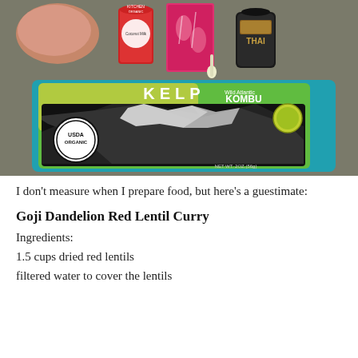[Figure (photo): Photo of cooking ingredients on a countertop including a bag of Kelp Wild Atlantic Kombu (USDA Organic, NET WT. 2OZ/56g), a bag of pink/red items (possibly goji berries), a can of Kitchen Organics Coconut Milk, a pink box, and a jar of Thai spice.]
I don't measure when I prepare food, but here's a guestimate:
Goji Dandelion Red Lentil Curry
Ingredients:
1.5 cups dried red lentils
filtered water to cover the lentils